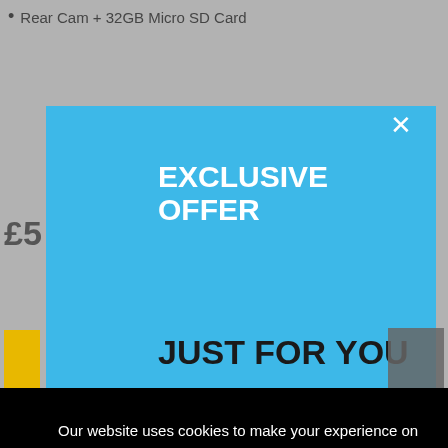Rear Cam + 32GB Micro SD Card
[Figure (screenshot): Background webpage showing partial price in GBP and a yellow button, overlaid by modal and cookie banners]
EXCLUSIVE OFFER
JUST FOR YOU
Our website uses cookies to make your experience on our website better and allow us to give better service. By using this site, you agree to our use of cookies
Learn more.
Allow Cookies